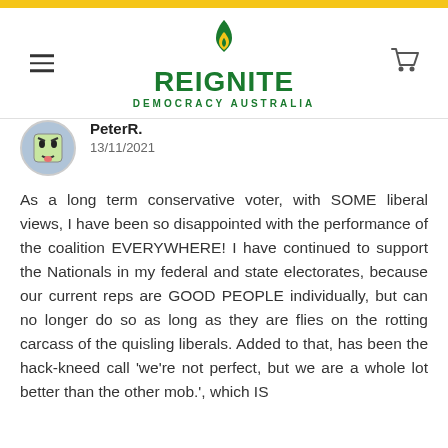[Figure (logo): Reignite Democracy Australia logo with green flame and text]
PeterR.
13/11/2021
As a long term conservative voter, with SOME liberal views, I have been so disappointed with the performance of the coalition EVERYWHERE! I have continued to support the Nationals in my federal and state electorates, because our current reps are GOOD PEOPLE individually, but can no longer do so as long as they are flies on the rotting carcass of the quisling liberals. Added to that, has been the hack-kneed call 'we're not perfect, but we are a whole lot better than the other mob.', which IS